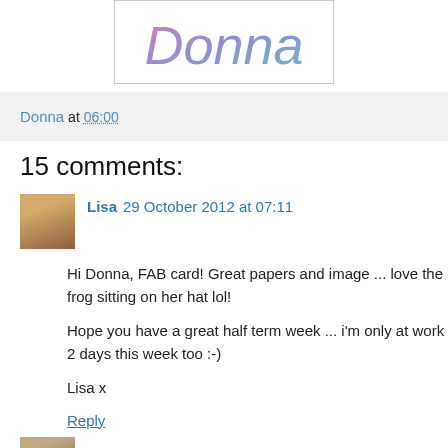[Figure (illustration): Decorative signature image showing the name 'Donna' in stylized cursive script with pink and blue coloring, enclosed in a rectangular border]
Donna at 06:00
15 comments:
Lisa 29 October 2012 at 07:11
Hi Donna, FAB card! Great papers and image ... love the frog sitting on her hat lol!

Hope you have a great half term week ... i'm only at work 2 days this week too :-)

Lisa x
Reply
debby1000 29 October 2012 at 07:18